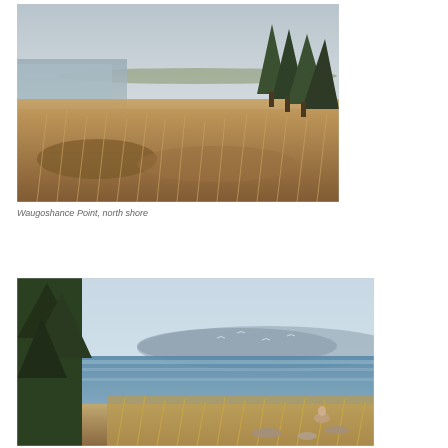[Figure (photo): Landscape photo of Waugoshance Point north shore showing marsh grasses, evergreen trees, and a calm lake or bay in the background under a hazy sky.]
Waugoshance Point, north shore
[Figure (photo): Coastal scene showing a beach or shallow water area with marsh grasses in the foreground, dark evergreen trees on the left, a person crouching near the water, and distant hills across blue water under a light hazy sky.]